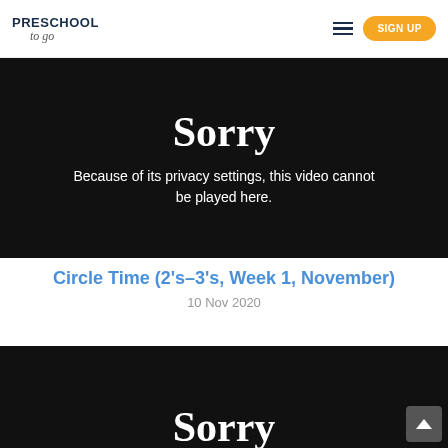[Figure (screenshot): Preschool To Go website header with logo on left, hamburger menu and orange SIGN UP button on right]
[Figure (screenshot): Embedded video player showing Sorry message: Because of its privacy settings, this video cannot be played here.]
Circle Time (2's–3's, Week 1, November)
10 Nov 2020
[Figure (screenshot): Second embedded video player showing partial Sorry message, cropped at bottom of page]